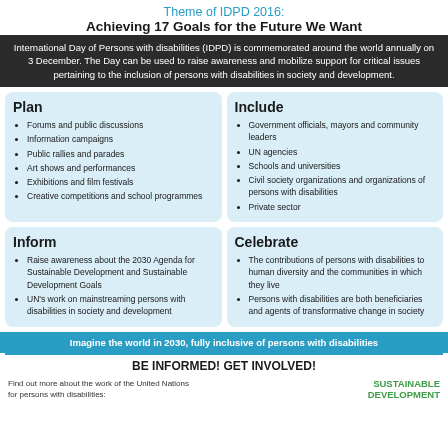Theme of IDPD 2016:
Achieving 17 Goals for the Future We Want
International Day of Persons with disabilities (IDPD) is commemorated around the world annually on 3 December. The Day can be used to raise awareness and mobilize support for critical issues pertaining to the inclusion of persons with disabilities in society and development.
Plan
Forums and public discussions
Information campaigns
Public rallies and parades
Art shows and performances
Exhibitions and film festivals
Creative competitions and school programmes
Include
Government officials, mayors and community leaders
UN agencies
Schools and universities
Civil society organizations and organizations of persons with disabilities
Private sector
Inform
Raise awareness about the 2030 Agenda for Sustainable Development and Sustainable Development Goals
UN's work on mainstreaming persons with disabilities in society and development
Celebrate
The contributions of persons with disabilities to human diversity and the communities in which they live
Persons with disabilities are both beneficiaries and agents of transformative change in society
Imagine the world in 2030, fully inclusive of persons with disabilities
BE INFORMED!  GET INVOLVED!
Find out more about the work of the United Nations for persons with disabilities:
SUSTAINABLE DEVELOPMENT